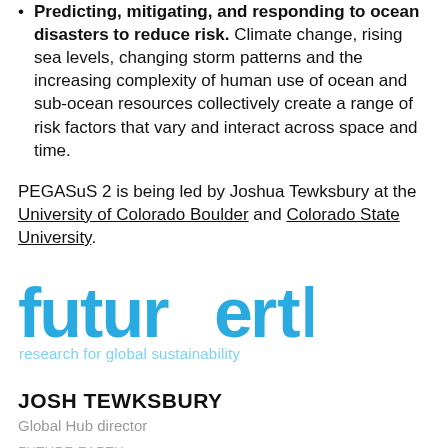Predicting, mitigating, and responding to ocean disasters to reduce risk. Climate change, rising sea levels, changing storm patterns and the increasing complexity of human use of ocean and sub-ocean resources collectively create a range of risk factors that vary and interact across space and time.
PEGASuS 2 is being led by Joshua Tewksbury at the University of Colorado Boulder and Colorado State University.
[Figure (logo): Future Earth logo — 'futurearth' in blue stylized lowercase text with a reversed 'e', subtitle 'research for global sustainability' in lighter blue]
JOSH TEWKSBURY
Global Hub director
FUTURE EARTH